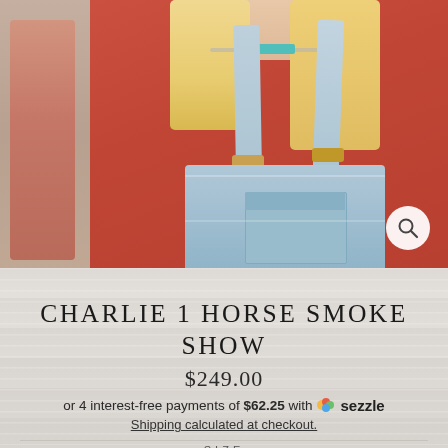[Figure (photo): Product photo of a woman wearing light wash denim overalls over a red t-shirt, with a turquoise necklace visible. Two-panel view with a partial side thumbnail on the left and main image on the right. Magnifier/zoom icon in bottom-right of photo.]
CHARLIE 1 HORSE SMOKE SHOW
$249.00
or 4 interest-free payments of $62.25 with Sezzle
Shipping calculated at checkout.
SIZE